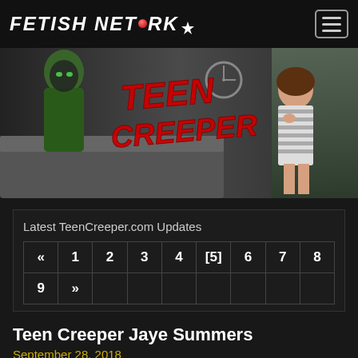FETISH NETWORK
[Figure (photo): Banner image for Teen Creeper website showing a horror-themed scene with a person in a green hoodie mask and a young woman in a striped dress looking startled. The 'Teen Creeper' logo is overlaid in red horror-style text.]
Latest TeenCreeper.com Updates
| « | 1 | 2 | 3 | 4 | [5] | 6 | 7 | 8 |
| 9 | » |  |  |  |  |  |  |  |
Teen Creeper Jaye Summers
September 28, 2018